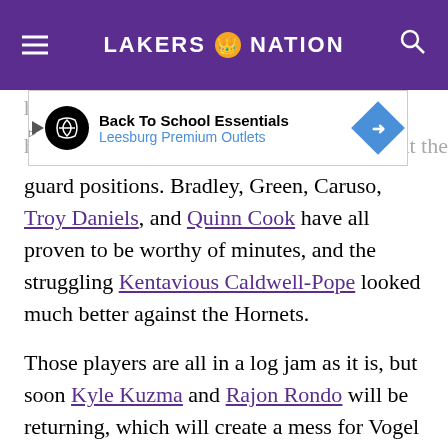LAKERS NATION
[Figure (other): Advertisement banner for Back To School Essentials - Leesburg Premium Outlets]
head ... hands ... at the guard positions. Bradley, Green, Caruso, Troy Daniels, and Quinn Cook have all proven to be worthy of minutes, and the struggling Kentavious Caldwell-Pope looked much better against the Hornets.
Those players are all in a log jam as it is, but soon Kyle Kuzma and Rajon Rondo will be returning, which will create a mess for Vogel to sort through.
With Vogel already stating that he wants Rondo to see 25-30 minutes per night when he's healthy, who